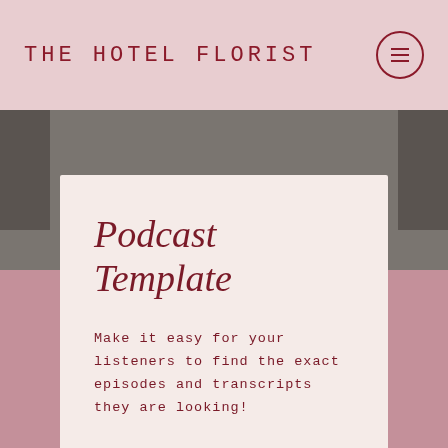THE HOTEL FLORIST
Podcast Template
Make it easy for your listeners to find the exact episodes and transcripts they are looking!
LET'S DO THIS!